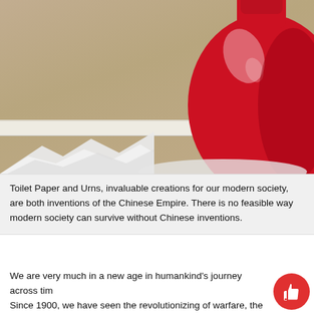[Figure (photo): Close-up photo of a shiny red ceramic urn/vase on a white shelf with white tissue/wrapping paper at its base. Background is a tan/beige wall.]
Toilet Paper and Urns, invaluable creations for our modern society, are both inventions of the Chinese Empire. There is no feasible way modern society can survive without Chinese inventions.
We are very much in a new age in humankind's journey across tim... Since 1900, we have seen the revolutionizing of warfare, the advent of truly supranational organizations like the United Na...